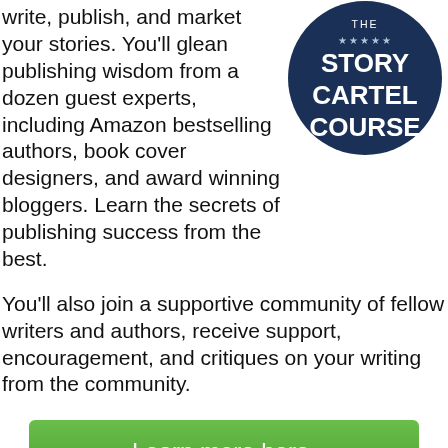write, publish, and market your stories. You'll glean publishing wisdom from a dozen guest experts, including Amazon bestselling authors, book cover designers, and award winning bloggers. Learn the secrets of publishing success from the best.
[Figure (logo): The Story Cartel Course logo — dark navy circle with white text 'THE STORY CARTEL COURSE']
You'll also join a supportive community of fellow writers and authors, receive support, encouragement, and critiques on your writing from the community.
Learn more here.
Twitter Challenge Pack